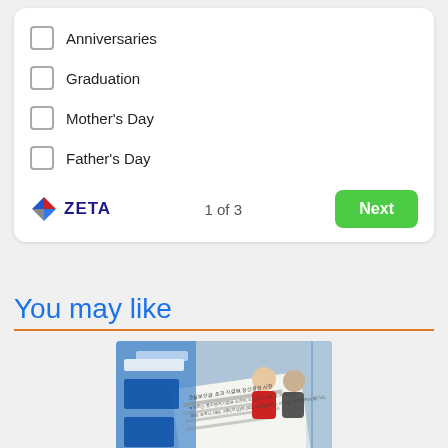Anniversaries
Graduation
Mother's Day
Father's Day
[Figure (logo): ZETA logo with diamond shape icon and text ZETA, with page indicator '1 of 3' and green Next button]
You may like
[Figure (photo): Korean language promotional banner and documents, with people in background, and a 'Close X' overlay button in bottom right]